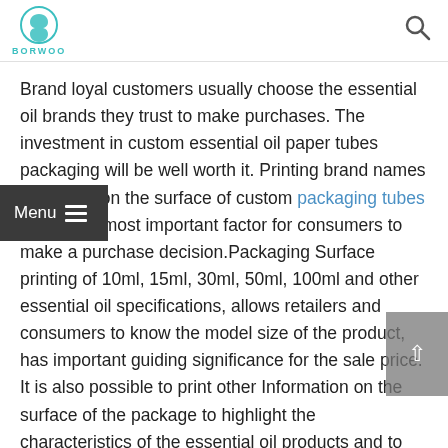BORWOO
Brand loyal customers usually choose the essential oil brands they trust to make purchases. The investment in custom essential oil paper tubes packaging will be well worth it. Printing brand names and logos on the surface of custom packaging tubes will be the most important factor for consumers to make a purchase decision.Packaging Surface printing of 10ml, 15ml, 30ml, 50ml, 100ml and other essential oil specifications, allows retailers and consumers to know the model size of the product, has important guiding significance for the sale price. It is also possible to print other Information on the surface of the package to highlight the characteristics of the essential oil products and to attract consumers in the shortest possible time. More types of essential oil packaging, we can provide you; or you can refer to our website for more than 50 essential Oil packaging design to let tell you more specific